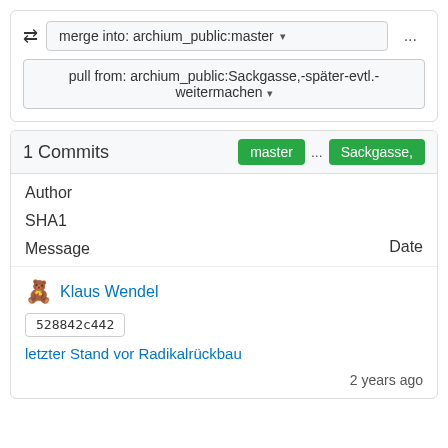merge into: archium_public:master ▾  ...
pull from: archium_public:Sackgasse,-später-evtl.-weitermachen ▾
1 Commits
master  ...  Sackgasse,
Author
SHA1
Message
Date
Klaus Wendel
528842c442
letzter Stand vor Radikalrückbau
2 years ago